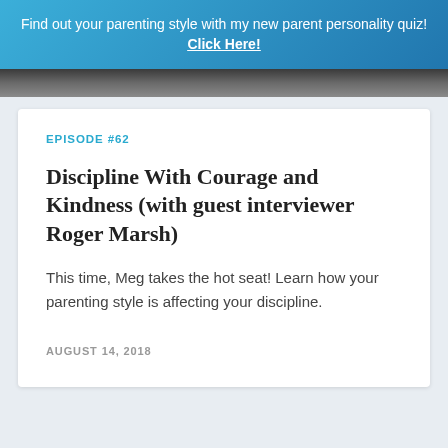Find out your parenting style with my new parent personality quiz! Click Here!
[Figure (photo): Partial photo strip showing a person, cropped at top of card]
EPISODE #62
Discipline With Courage and Kindness (with guest interviewer Roger Marsh)
This time, Meg takes the hot seat! Learn how your parenting style is affecting your discipline.
AUGUST 14, 2018